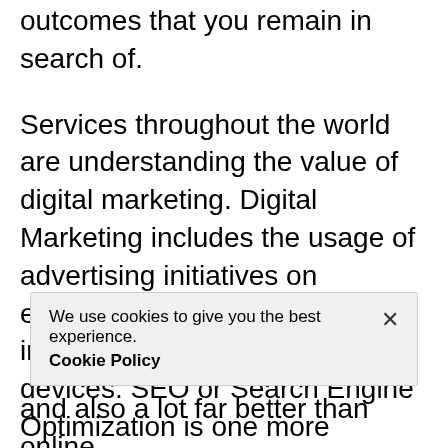outcomes that you remain in search of.
Services throughout the world are understanding the value of digital marketing. Digital Marketing includes the usage of advertising initiatives on electronic systems which need internet-paired electronic devices. SEO or Search Engine Optimization is one more efficient digital marketing strategy which gives business owners with different benefits. The use of electronic web content, either totally free or supported, allows you get to out
We use cookies to give you the best experience. Cookie Policy ×
and also a lot far better than online